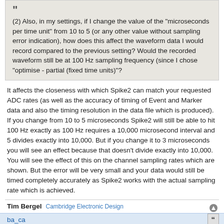(2) Also, in my settings, if I change the value of the "microseconds per time unit" from 10 to 5 (or any other value without sampling error indication), how does this affect the waveform data I would record compared to the previous setting? Would the recorded waveform still be at 100 Hz sampling frequency (since I chose "optimise - partial (fixed time units)"?
It affects the closeness with which Spike2 can match your requested ADC rates (as well as the accuracy of timing of Event and Marker data and also the timing resolution in the data file which is produced). If you change from 10 to 5 microseconds Spike2 will still be able to hit 100 Hz exactly as 100 Hz requires a 10,000 microsecond interval and 5 divides exactly into 10,000. But if you change it to 3 microseconds you will see an effect because that doesn't divide exactly into 10,000. You will see the effect of this on the channel sampling rates which are shown. But the error will be very small and your data would still be timed completely accurately as Spike2 works with the actual sampling rate which is achieved.
Tim Bergel Cambridge Electronic Design
ba_ca
Re: Microseconds per time unit role?